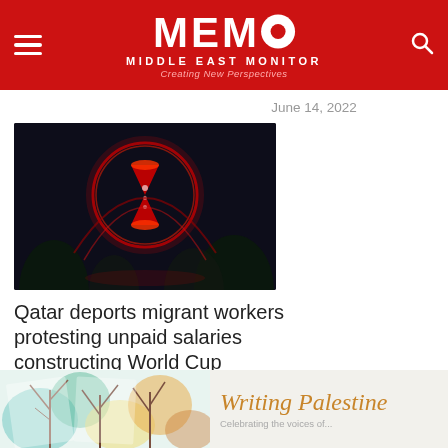MEMO MIDDLE EAST MONITOR — Creating New Perspectives
June 14, 2022
[Figure (photo): Night photo of illuminated Qatar World Cup hourglass trophy logo in red light against dark background]
Qatar deports migrant workers protesting unpaid salaries constructing World Cup stadiums
August 24, 2022
[Figure (illustration): Colorful watercolor painting cards with tree motifs, Writing Palestine promotional banner in golden cursive text]